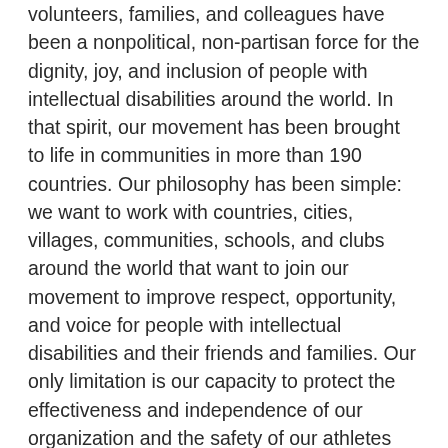volunteers, families, and colleagues have been a nonpolitical, non-partisan force for the dignity, joy, and inclusion of people with intellectual disabilities around the world. In that spirit, our movement has been brought to life in communities in more than 190 countries. Our philosophy has been simple: we want to work with countries, cities, villages, communities, schools, and clubs around the world that want to join our movement to improve respect, opportunity, and voice for people with intellectual disabilities and their friends and families. Our only limitation is our capacity to protect the effectiveness and independence of our organization and the safety of our athletes and community.
We can no longer ensure the effectiveness of the World Winter Games in Kazan or the safety of our athletes and community. The horrific violence in Ukraine, the extensive sanctions implemented by the international community, and the uncertainty and fear being experienced around the world make it impossible to